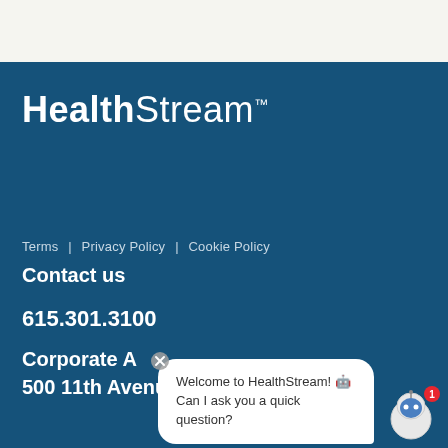[Figure (logo): HealthStream logo in white text on dark teal background]
Terms | Privacy Policy | Cookie Policy
Contact us
615.301.3100
Corporate A...
500 11th Avenue North
[Figure (other): Chat bot popup overlay with message: Welcome to HealthStream! Can I ask you a quick question? with robot icon and notification badge showing 1]